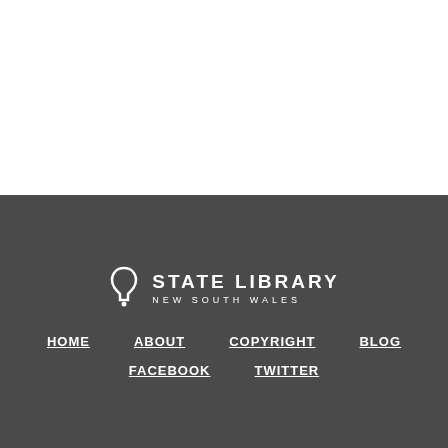[Figure (photo): Partial view of a historical exhibition display, brown/amber toned image with a circular blue info icon in the top-right corner]
STATE LIBRARY NEW SOUTH WALES — HOME | ABOUT | COPYRIGHT | BLOG | FACEBOOK | TWITTER